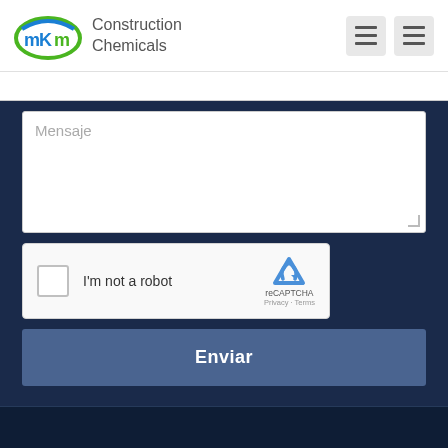[Figure (logo): MKM Construction Chemicals logo with menu icons]
Mensaje
[Figure (other): reCAPTCHA widget with checkbox 'I'm not a robot']
Enviar
© All Rights Reserved
Made With ❤ By MKM